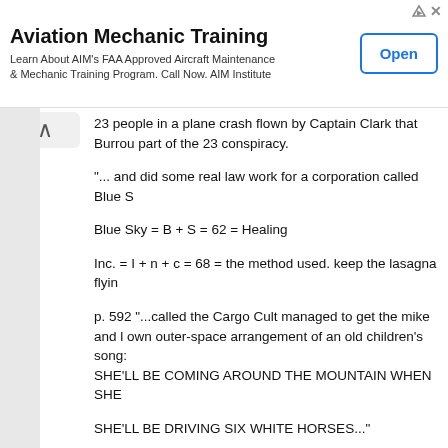[Figure (screenshot): Advertisement banner for Aviation Mechanic Training by AIM Institute. Shows title 'Aviation Mechanic Training', subtitle text, and an 'Open' button. Top-right has ad icons (triangle and X).]
23 people in a plane crash flown by Captain Clark that Burrou part of the 23 conspiracy.
"... and did some real law work for a corporation called Blue S
Blue Sky = B + S = 62 = Healing
Inc. = I + n + c = 68 = the method used. keep the lasagna flyin
p. 592 "...called the Cargo Cult managed to get the mike and l own outer-space arrangement of an old children's song: SHE'LL BE COMING AROUND THE MOUNTAIN WHEN SHE
SHE'LL BE DRIVING SIX WHITE HORSES..."
Cargo = Here to go
managed = lower centrums in check
mike = Archangel Mike = fire
children's song = c + s = 68